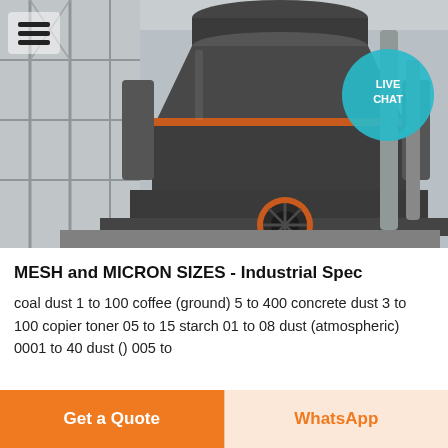[Figure (photo): Industrial grinding/milling machine (vertical roller mill or similar) in a factory setting, photographed from the front. Machine is large and dark-colored with orange/red belt drive visible at bottom. Factory scaffolding and pipes visible in background.]
MESH and MICRON SIZES - Industrial Spec
coal dust 1 to 100 coffee (ground) 5 to 400 concrete dust 3 to 100 copier toner 05 to 15 starch 01 to 08 dust (atmospheric) 0001 to 40 dust () 005 to